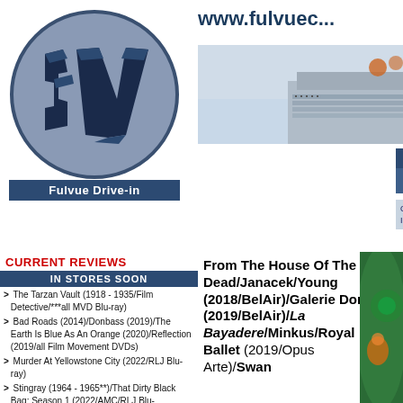[Figure (logo): Fulvue Drive-in logo: circular grey background with stylized dark blue 3D 'fv' letters]
Fulvue Drive-in
www.fulvue...
[Figure (photo): Partial image of what appears to be a stadium or venue, partly visible on right side of header]
REVIEWS   ESSAYS
RATINGS SYSTEM
Category:  Home > Reviews > Classical Music > C... Instrumental > B > Traviata/Verdi/LeConte (2018/Be...
CURRENT REVIEWS
IN STORES SOON
The Tarzan Vault (1918 - 1935/Film Detective/***all MVD Blu-ray)
Bad Roads (2014)/Donbass (2019)/The Earth Is Blue As An Orange (2020)/Reflection (2019/all Film Movement DVDs)
Murder At Yellowstone City (2022/RLJ Blu-ray)
Stingray (1964 - 1965**)/That Dirty Black Bag: Season 1 (2022/AMC/RLJ Blu-ray)/Wanted: Dead Or Alive (1958 - 1961/**both Via Vision PAL Region Free Import DVD Complete Series sets)
Batwoman: The Complete Third &...
From The House Of The Dead/Janacek/Young (2018/BelAir)/Galerie Dorre (2019/BelAir)/La Bayadere/Minkus/Royal Ballet (2019/Opus Arte)/Swan
[Figure (photo): Partial green/teal colored disc or album artwork visible at right edge of content area]